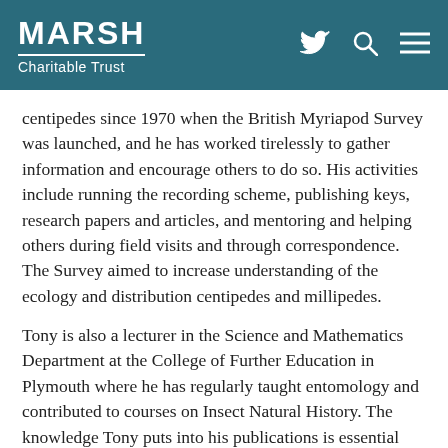MARSH Charitable Trust
centipedes since 1970 when the British Myriapod Survey was launched, and he has worked tirelessly to gather information and encourage others to do so. His activities include running the recording scheme, publishing keys, research papers and articles, and mentoring and helping others during field visits and through correspondence. The Survey aimed to increase understanding of the ecology and distribution centipedes and millipedes.
Tony is also a lecturer in the Science and Mathematics Department at the College of Further Education in Plymouth where he has regularly taught entomology and contributed to courses on Insect Natural History. The knowledge Tony puts into his publications is essential and varied and helps to explain important ecological information. He has formed the British